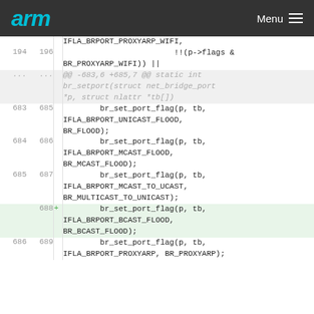arm  Menu
[Figure (screenshot): Code diff view showing changes to br_setport function in a kernel networking file. Lines 194/196 show IFLA_BRPORT_PROXYARP_WIFI and !!(p->flags & BR_PROXYARP_WIFI) || code. A hunk header shows @@ -683,6 +685,7 @@ static int br_setport(struct net_bridge_port *p, struct nlattr *tb[]. Lines 683/685 show br_set_port_flag(p, tb, IFLA_BRPORT_UNICAST_FLOOD, BR_FLOOD); Lines 684/686 show br_set_port_flag(p, tb, IFLA_BRPORT_MCAST_FLOOD, BR_MCAST_FLOOD); Lines 685/687 show br_set_port_flag(p, tb, IFLA_BRPORT_MCAST_TO_UCAST, BR_MULTICAST_TO_UNICAST); A new added line 688 shows + br_set_port_flag(p, tb, IFLA_BRPORT_BCAST_FLOOD, BR_BCAST_FLOOD); Lines 686/689 show br_set_port_flag(p, tb, IFLA_BRPORT_PROXYARP, BR_PROXYARP);]